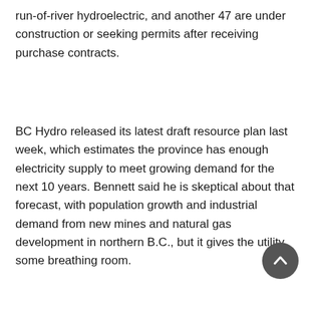run-of-river hydroelectric, and another 47 are under construction or seeking permits after receiving purchase contracts.
BC Hydro released its latest draft resource plan last week, which estimates the province has enough electricity supply to meet growing demand for the next 10 years. Bennett said he is skeptical about that forecast, with population growth and industrial demand from new mines and natural gas development in northern B.C., but it gives the utility some breathing room.
[Figure (other): Scroll-to-top button: a dark grey circle with a white upward-pointing chevron arrow]